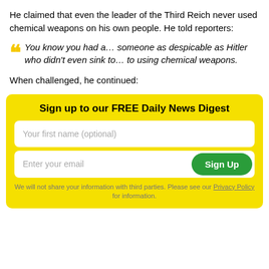He claimed that even the leader of the Third Reich never used chemical weapons on his own people. He told reporters:
You know you had a… someone as despicable as Hitler who didn't even sink to… to using chemical weapons.
When challenged, he continued:
[Figure (other): Email newsletter signup box with yellow background, title 'Sign up to our FREE Daily News Digest', first name input field, email input field with green Sign Up button, and privacy policy footnote.]